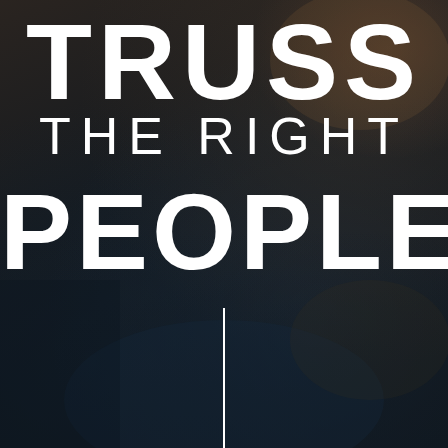[Figure (photo): Dark background photo of a blurry nighttime or industrial scene with warm and cool tones, serving as backdrop for overlaid text. A vertical white line extends downward from the center bottom of the text area.]
TRUSS THE RIGHT PEOPLE